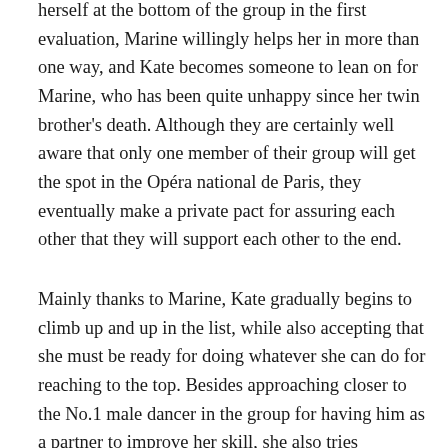herself at the bottom of the group in the first evaluation, Marine willingly helps her in more than one way, and Kate becomes someone to lean on for Marine, who has been quite unhappy since her twin brother's death. Although they are certainly well aware that only one member of their group will get the spot in the Opéra national de Paris, they eventually make a private pact for assuring each other that they will support each other to the end.
Mainly thanks to Marine, Kate gradually begins to climb up and up in the list, while also accepting that she must be ready for doing whatever she can do for reaching to the top. Besides approaching closer to the No.1 male dancer in the group for having him as a partner to improve her skill, she also tries something many ballet dancers do behind their back just for improving herself more and more, but she does not tell anything to Marine because, as